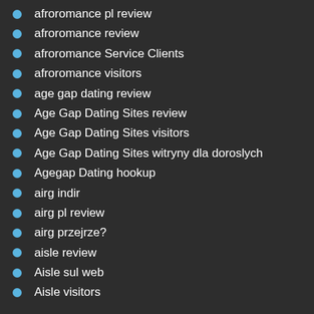afroromance pl review
afroromance review
afroromance Service Clients
afroromance visitors
age gap dating review
Age Gap Dating Sites review
Age Gap Dating Sites visitors
Age Gap Dating Sites witryny dla doroslych
Agegap Dating hookup
airg indir
airg pl review
airg przejrze?
aisle review
Aisle sul web
Aisle visitors